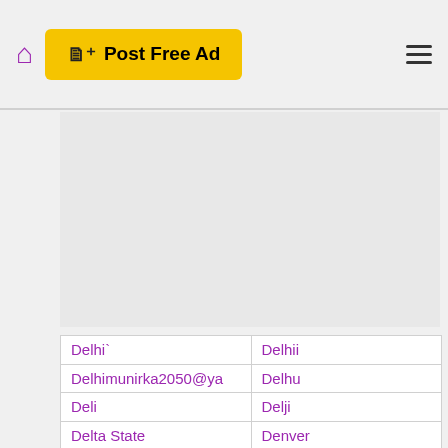Post Free Ad
[Figure (other): Advertisement placeholder area (gray rectangle)]
Delhi`
Delhii
Delhimunirka2050@ya
Delhu
Deli
Delji
Delta State
Denver